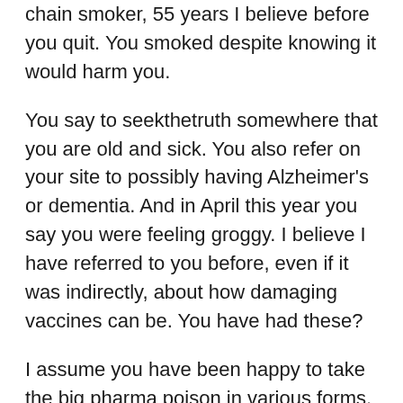chain smoker, 55 years I believe before you quit. You smoked despite knowing it would harm you.
You say to seekthetruth somewhere that you are old and sick. You also refer on your site to possibly having Alzheimer's or dementia. And in April this year you say you were feeling groggy. I believe I have referred to you before, even if it was indirectly, about how damaging vaccines can be. You have had these?
I assume you have been happy to take the big pharma poison in various forms, including vaccines over the years. I don't know if you are a veteran of Vietnam War, and maybe you did drugs when you were young. In any event, something has messed with your brain big time, otherwise you would be thinking rationally.